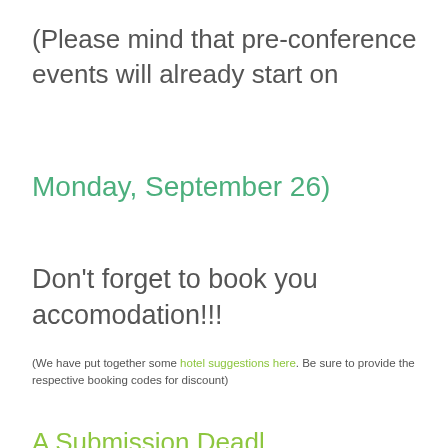(Please mind that pre-conference events will already start on
Monday, September 26)
Don't forget to book you accomodation!!!
(We have put together some hotel suggestions here. Be sure to provide the respective booking codes for discount)
A Submission Deadline S...